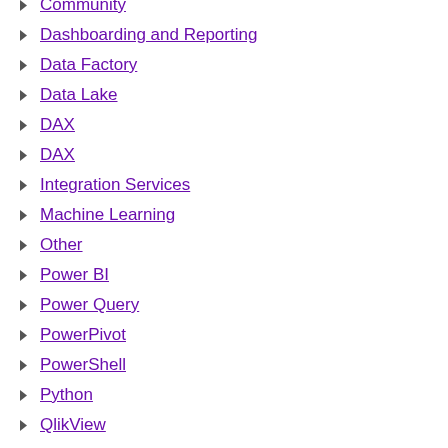Community
Dashboarding and Reporting
Data Factory
Data Lake
DAX
DAX
Integration Services
Machine Learning
Other
Power BI
Power Query
PowerPivot
PowerShell
Python
QlikView
Reporting Services
Spark